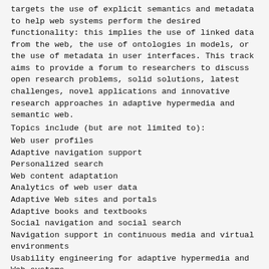targets the use of explicit semantics and metadata to help web systems perform the desired functionality: this implies the use of linked data from the web, the use of ontologies in models, or the use of metadata in user interfaces. This track aims to provide a forum to researchers to discuss open research problems, solid solutions, latest challenges, novel applications and innovative research approaches in adaptive hypermedia and semantic web.
Topics include (but are not limited to):
Web user profiles
Adaptive navigation support
Personalized search
Web content adaptation
Analytics of web user data
Adaptive Web sites and portals
Adaptive books and textbooks
Social navigation and social search
Navigation support in continuous media and virtual environments
Usability engineering for adaptive hypermedia and Web systems
Novel methodologies for evaluating adaptive hypermedia and Web systems
Semantic Web technologies for Web personalization
Ontology-based data access and integration/exchange on the adaptive web